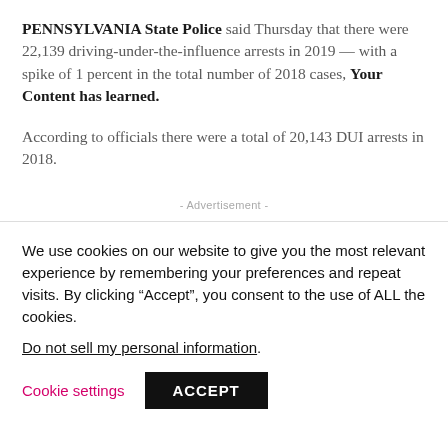PENNSYLVANIA State Police said Thursday that there were 22,139 driving-under-the-influence arrests in 2019 — with a spike of 1 percent in the total number of 2018 cases, Your Content has learned.
According to officials there were a total of 20,143 DUI arrests in 2018.
- Advertisement -
We use cookies on our website to give you the most relevant experience by remembering your preferences and repeat visits. By clicking "Accept", you consent to the use of ALL the cookies.
Do not sell my personal information.
Cookie settings  ACCEPT